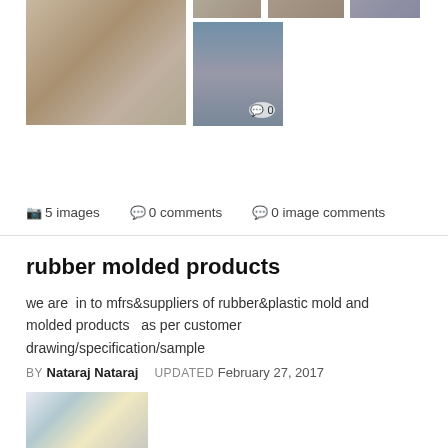[Figure (photo): Grid of product images showing metal machined parts and cylindrical components]
📷 5 images   💬 0 comments   💬 0 image comments
rubber molded products
we are  in to mfrs&suppliers of rubber&plastic mold and molded products   as per customer drawing/specification/sample
BY Nataraj Nataraj   UPDATED February 27, 2017
[Figure (photo): Photo of rubber and plastic molded products including blue, white, and yellow components on a table]